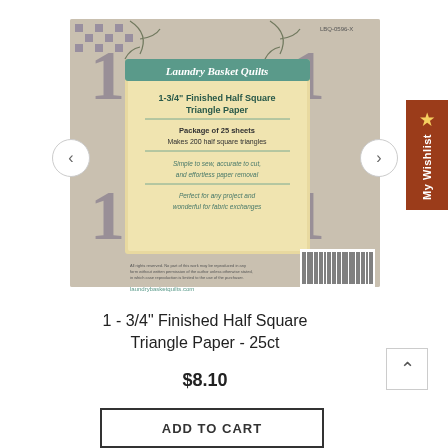[Figure (photo): Product packaging for Laundry Basket Quilts 1-3/4 inch Finished Half Square Triangle Paper, package of 25 sheets, makes 200 half square triangles. Shows product front and back with barcode. SKU: LBQ-0596-X. Website: laundrybasketquilts.com]
1 - 3/4" Finished Half Square Triangle Paper - 25ct
$8.10
ADD TO CART